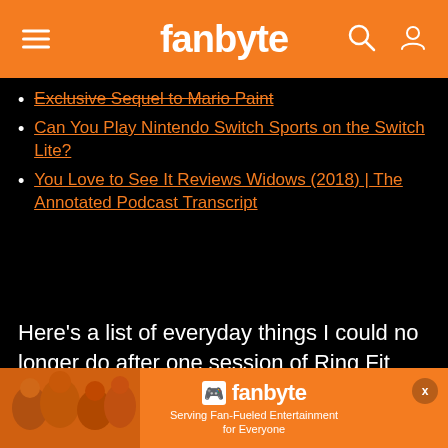fanbyte
Exclusive Sequel to Mario Paint
Can You Play Nintendo Switch Sports on the Switch Lite?
You Love to See It Reviews Widows (2018) | The Annotated Podcast Transcript
Here’s a list of everyday things I could no longer do after one session of Ring Fit Adventure.
[Figure (screenshot): Fanbyte advertisement banner at bottom of page with logo and tagline 'Serving Fan-Fueled Entertainment for Everyone']